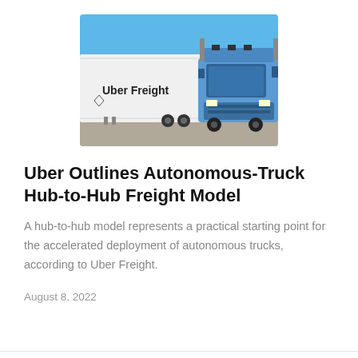[Figure (photo): Blue Uber Freight semi-truck with white trailer branded 'Uber Freight', photographed outdoors under a blue sky.]
Uber Outlines Autonomous-Truck Hub-to-Hub Freight Model
A hub-to-hub model represents a practical starting point for the accelerated deployment of autonomous trucks, according to Uber Freight.
August 8, 2022